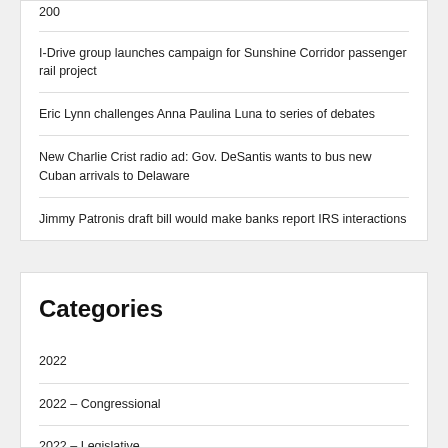200
I-Drive group launches campaign for Sunshine Corridor passenger rail project
Eric Lynn challenges Anna Paulina Luna to series of debates
New Charlie Crist radio ad: Gov. DeSantis wants to bus new Cuban arrivals to Delaware
Jimmy Patronis draft bill would make banks report IRS interactions
Categories
2022
2022 – Congressional
2022 – Legislative
America in Crisis